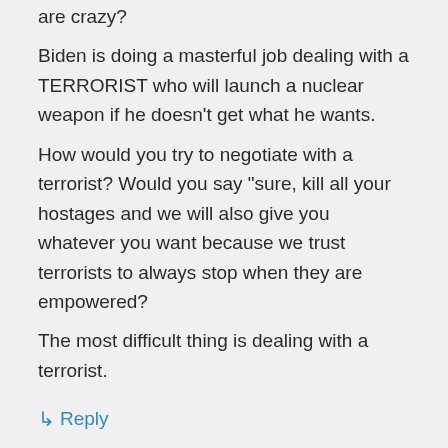are crazy?
Biden is doing a masterful job dealing with a TERRORIST who will launch a nuclear weapon if he doesn't get what he wants.
How would you try to negotiate with a terrorist? Would you say “sure, kill all your hostages and we will also give you whatever you want because we trust terrorists to always stop when they are empowered?
The most difficult thing is dealing with a terrorist.
↳ Reply